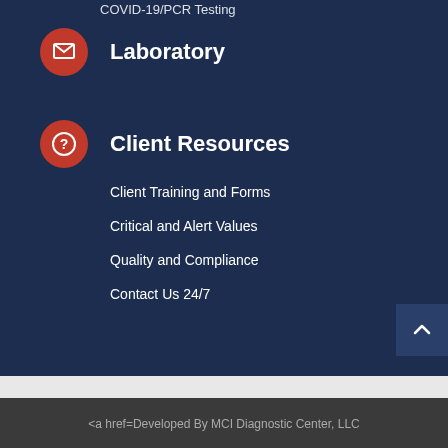COVID-19/PCR Testing
Laboratory
Client Resources
Client Training and Forms
Critical and Alert Values
Quality and Compliance
Contact Us 24/7
<a href=Developed By MCI Diagnostic Center, LLC